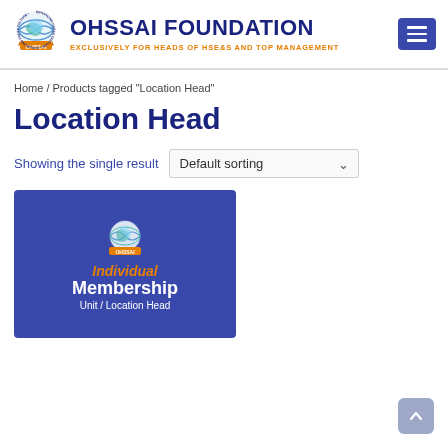OHSSAI FOUNDATION — EXCLUSIVELY FOR HEADS OF HSE&S AND TOP MANAGEMENT
Home / Products tagged "Location Head"
Location Head
Showing the single result  Default sorting
[Figure (illustration): OHSSAI Foundation Individual Membership card with dark blue background showing the OHSSAI logo, text 'Individual Membership' in orange and white, and 'Unit / Location Head' in white below.]